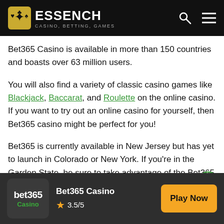ESSENCH — CASINO, BETTING, GAMES
Bet365 Casino is available in more than 150 countries and boasts over 63 million users.
You will also find a variety of classic casino games like Blackjack, Baccarat, and Roulette on the online casino. If you want to try out an online casino for yourself, then Bet365 casino might be perfect for you!
Bet365 is currently available in New Jersey but has yet to launch in Colorado or New York. If you're in the Garden State, be sure to take advantage of the Bet365 Sign Up
[Figure (other): Scroll to top button — green circle with upward arrow]
bet365 Casino — 3.5/5 — Play Now